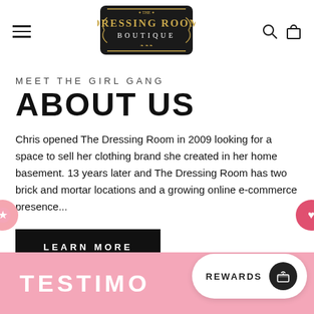[Figure (logo): The Dressing Room Boutique logo - dark shield/badge shape with gold text on black background]
MEET THE GIRL GANG
ABOUT US
Chris opened The Dressing Room in 2009 looking for a space to sell her clothing brand she created in her home basement. 13 years later and The Dressing Room has two brick and mortar locations and a growing online e-commerce presence...
LEARN MORE
TESTIMO